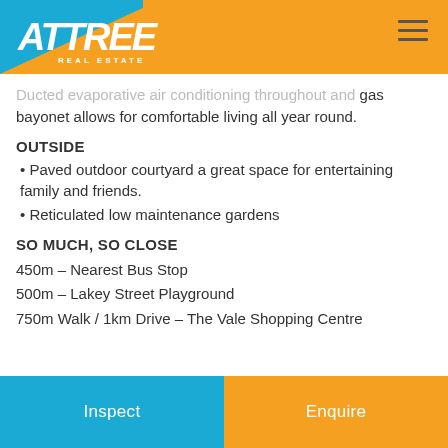[Figure (logo): Attree Real Estate logo with blue triangle, orange background, and white text]
Ducted evaporative air conditioning throughout and gas bayonet allows for comfortable living all year round.
OUTSIDE
• Paved outdoor courtyard a great space for entertaining family and friends.
• Reticulated low maintenance gardens
SO MUCH, SO CLOSE
450m – Nearest Bus Stop
500m – Lakey Street Playground
750m Walk / 1km Drive – The Vale Shopping Centre
Inspect
Enquire